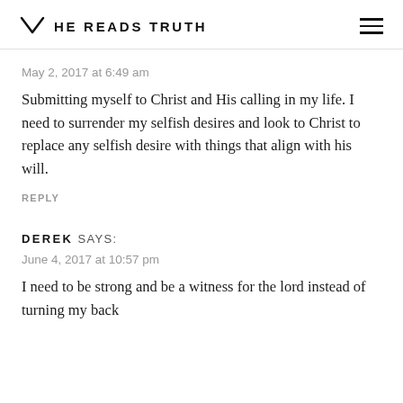HE READS TRUTH
May 2, 2017 at 6:49 am
Submitting myself to Christ and His calling in my life. I need to surrender my selfish desires and look to Christ to replace any selfish desire with things that align with his will.
REPLY
DEREK SAYS:
June 4, 2017 at 10:57 pm
I need to be strong and be a witness for the lord instead of turning my back